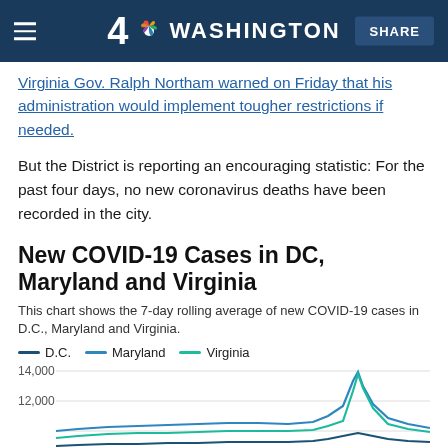4 NBC Washington — SHARE
Virginia Gov. Ralph Northam warned on Friday that his administration would implement tougher restrictions if needed.
But the District is reporting an encouraging statistic: For the past four days, no new coronavirus deaths have been recorded in the city.
New COVID-19 Cases in DC, Maryland and Virginia
This chart shows the 7-day rolling average of new COVID-19 cases in D.C., Maryland and Virginia.
[Figure (line-chart): 7-day rolling average line chart showing COVID-19 cases, with a spike near 14,000 visible at the right edge for one series]